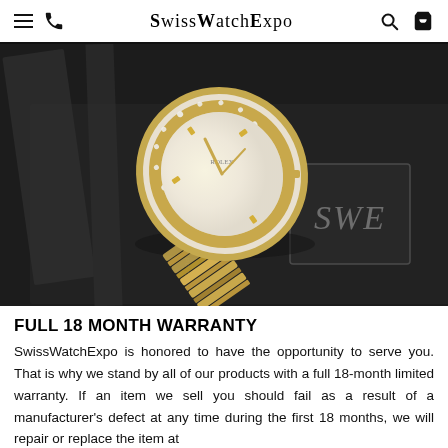SwissWatchExpo
[Figure (photo): A luxury Rolex watch with diamond bezel and mother-of-pearl dial on a dark branded SwissWatchExpo packaging/box. The watch has a two-tone gold and steel jubilee bracelet. A card with 'SWE' monogram is visible in the background.]
FULL 18 MONTH WARRANTY
SwissWatchExpo is honored to have the opportunity to serve you. That is why we stand by all of our products with a full 18-month limited warranty. If an item we sell you should fail as a result of a manufacturer's defect at any time during the first 18 months, we will repair or replace the item at